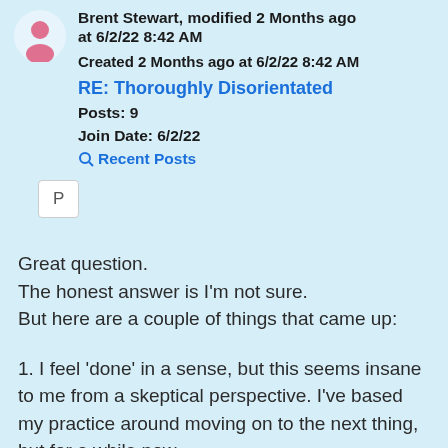Brent Stewart, modified 2 Months ago at 6/2/22 8:42 AM
Created 2 Months ago at 6/2/22 8:42 AM
RE: Thoroughly Disorientated
Posts: 9
Join Date: 6/2/22
Recent Posts
P
Great question.
The honest answer is I'm not sure.
But here are a couple of things that came up:
1. I feel 'done' in a sense, but this seems insane to me from a skeptical perspective. I've based my practice around moving on to the next thing, but for a while now